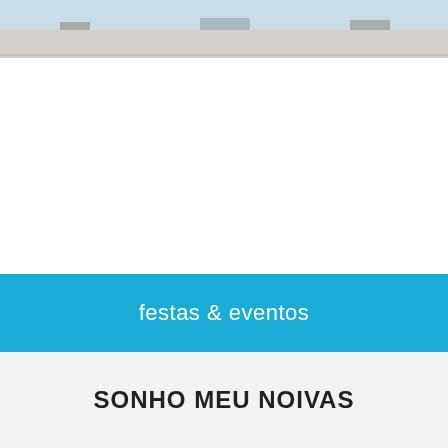[Figure (photo): A narrow horizontal strip photo at the top of the page, appearing to show a landscape or outdoor scene in muted tones.]
festas & eventos
SONHO MEU NOIVAS